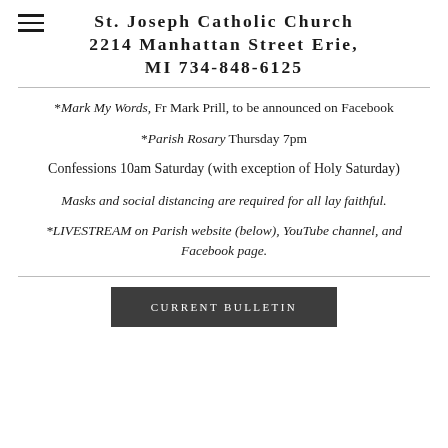St. Joseph Catholic Church 2214 Manhattan Street Erie, MI 734-848-6125
*Mark My Words, Fr Mark Prill, to be announced on Facebook
*Parish Rosary Thursday 7pm
Confessions 10am Saturday (with exception of Holy Saturday)
Masks and social distancing are required for all lay faithful.
*LIVESTREAM on Parish website (below), YouTube channel, and Facebook page.
CURRENT BULLETIN